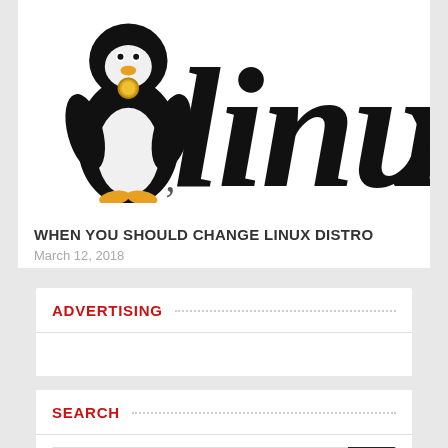[Figure (logo): Linux Tux penguin logo with the word 'linux' in large gothic/blackletter style text, partially cropped, black and white with gold medal on penguin]
WHEN YOU SHOULD CHANGE LINUX DISTRO
March 12, 2018
ADVERTISING
SEARCH
Search ...